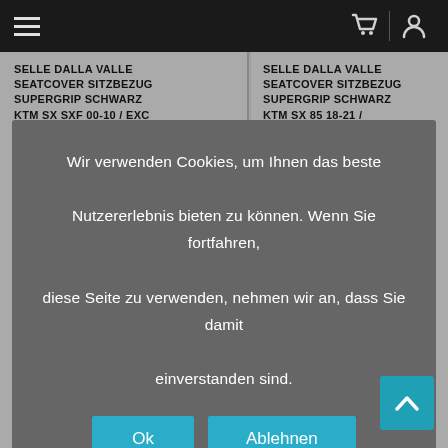Navigation bar with hamburger menu, cart icon, and user icon
SELLE DALLA VALLE SEATCOVER SITZBEZUG SUPERGRIP SCHWARZ KTM SX SXF 00-10 / EXC
SELLE DALLA VALLE SEATCOVER SITZBEZUG SUPERGRIP SCHWARZ KTM SX 85 18-21 /
[Figure (screenshot): Cookie consent modal dialog with text in German and Ok/Ablehnen buttons]
Wir verwenden Cookies, um Ihnen das beste Nutzererlebnis bieten zu können. Wenn Sie fortfahren, diese Seite zu verwenden, nehmen wir an, dass Sie damit einverstanden sind.